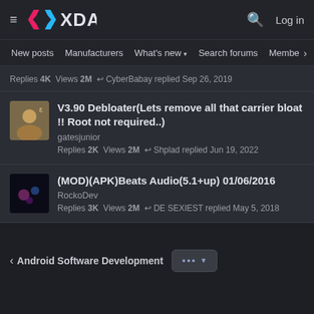XDA Developers — Log in
New posts  Manufacturers  What's new  Search forums  Membe  >
Replies 4K  Views 2M  CyberBabay replied Sep 26, 2019
V3.90 Debloater(Lets remove all that carrier bloat !! Root not required..)
gatesjunior
Replies 2K  Views 2M  Shplad replied Jun 19, 2022
(MOD)(APK)Beats Audio(5.1+up) 01/06/2016
RockoDev
Replies 3K  Views 2M  DE SEXIEST replied May 5, 2018
< Android Software Development  ... ▾